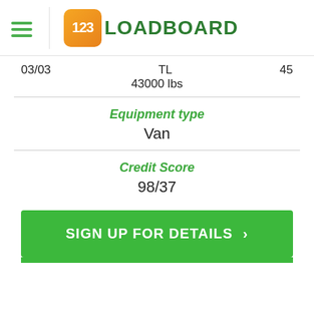123LOADBOARD
03/03    TL    45
43000 lbs
Equipment type
Van
Credit Score
98/37
SIGN UP FOR DETAILS >